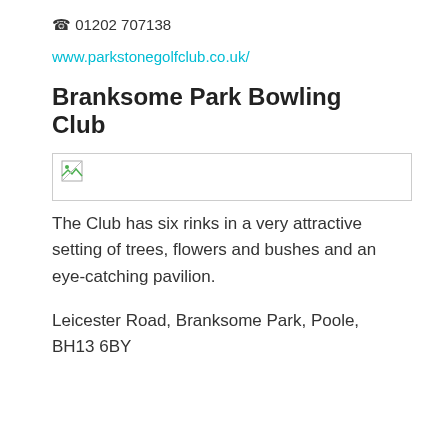☎ 01202 707138
www.parkstonegolfclub.co.uk/
Branksome Park Bowling Club
[Figure (photo): Broken image placeholder — a rectangular image box with a small broken image icon in the top-left corner]
The Club has six rinks in a very attractive setting of trees, flowers and bushes and an eye-catching pavilion.
Leicester Road, Branksome Park, Poole, BH13 6BY